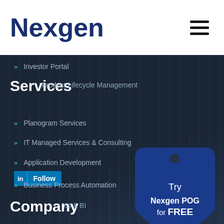Nexgen
Investor Portal
Services
Product Lifecycle Management
Planogram Services
IT Managed Services & Consulting
Application Development
[Figure (logo): LinkedIn Follow button]
Business Process Automation
Company
Analytics & BI
[Figure (infographic): Price tag shape with text: Try Nexgen POG for FREE]
About Us
News